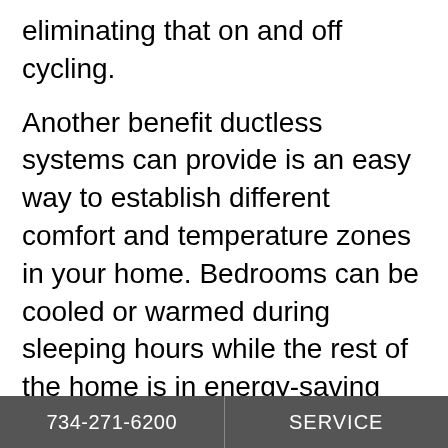eliminating that on and off cycling.
Another benefit ductless systems can provide is an easy way to establish different comfort and temperature zones in your home. Bedrooms can be cooled or warmed during sleeping hours while the rest of the home is in energy-saving mode. Guest rooms can be made more comfortable when you have visitors while staying energy efficient most of the time.
In addition, ductless air conditioning systems are small and quiet. They can be very energy-
734-271-6200   SERVICE